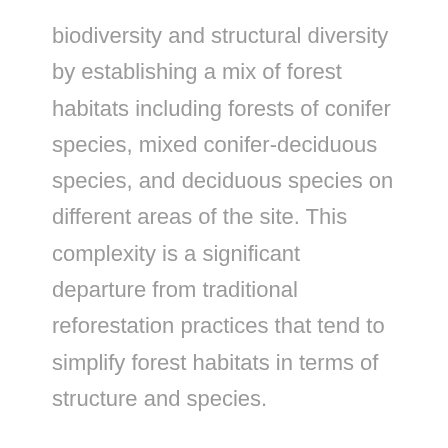biodiversity and structural diversity by establishing a mix of forest habitats including forests of conifer species, mixed conifer-deciduous species, and deciduous species on different areas of the site. This complexity is a significant departure from traditional reforestation practices that tend to simplify forest habitats in terms of structure and species.
The expectation is that this increases the forest's functional redundancy – meaning, resilience that comes from multiple species from different taxonomic groups playing similar roles in the ecosystem. At the same time, the